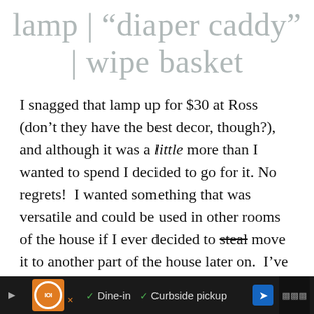lamp | “diaper caddy” | wipe basket
I snagged that lamp up for $30 at Ross (don’t they have the best decor, though?), and although it was a little more than I wanted to spend I decided to go for it. No regrets!  I wanted something that was versatile and could be used in other rooms of the house if I ever decided to steal move it to another part of the house later on.  I’ve linked to another gold lamp (which was my next choice)
[Figure (other): Advertisement bar at bottom: restaurant logo, Dine-in, Curbside pickup options, navigation arrow icon]